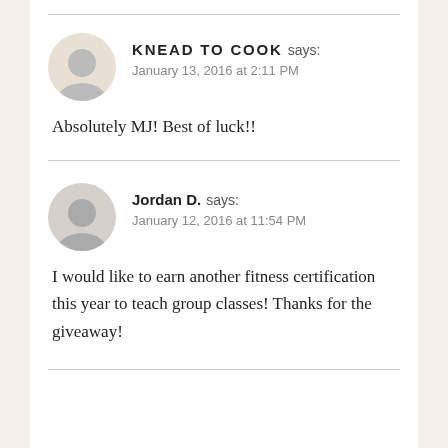KNEAD TO COOK says: January 13, 2016 at 2:11 PM
Absolutely MJ! Best of luck!!
Jordan D. says: January 12, 2016 at 11:54 PM
I would like to earn another fitness certification this year to teach group classes! Thanks for the giveaway!